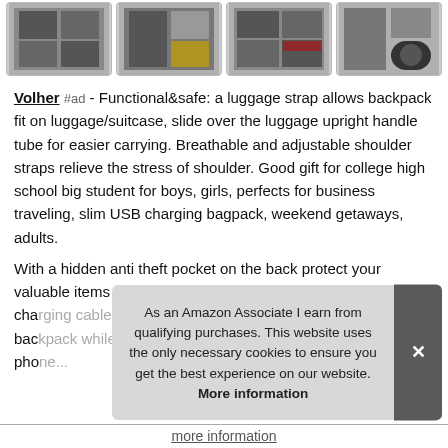[Figure (photo): Row of four product thumbnail images showing a backpack from different angles and with detail views]
Volher #ad - Functional&safe: a luggage strap allows backpack fit on luggage/suitcase, slide over the luggage upright handle tube for easier carrying. Breathable and adjustable shoulder straps relieve the stress of shoulder. Good gift for college high school big student for boys, girls, perfects for business traveling, slim USB charging bagpack, weekend getaways, adults.
With a hidden anti theft pocket on the back protect your valuable items from thieves. Usb port design: with built in usb cha[rging]... bac[k]... pho[ne]...
As an Amazon Associate I earn from qualifying purchases. This website uses the only necessary cookies to ensure you get the best experience on our website. More information